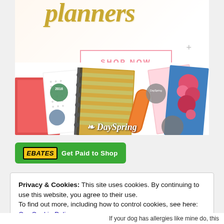[Figure (illustration): DaySpring planners advertisement with gold script 'planners' text, a pink-bordered 'SHOP NOW' button, and a colorful collage of patterned planners/journals with tape and accessories. DaySpring brand logo in white italic text overlaid on the collage.]
[Figure (logo): Ebates 'Get Paid to Shop' green button with Ebates logo in yellow italic text on black background and white sans-serif text 'Get Paid to Shop']
Privacy & Cookies: This site uses cookies. By continuing to use this website, you agree to their use.
To find out more, including how to control cookies, see here: Our Cookie Policy
Close and accept
If your dog has allergies like mine do, this